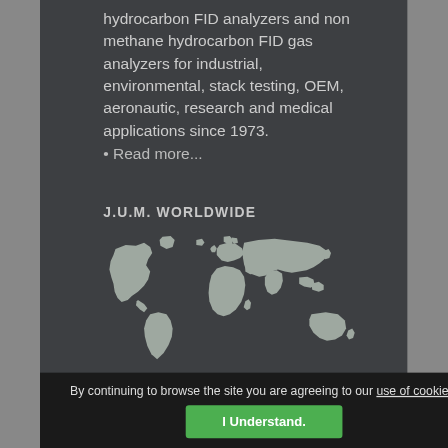hydrocarbon FID analyzers and non methane hydrocarbon FID gas analyzers for industrial, environmental, stack testing, OEM, aeronautic, research and medical applications since 1973.
• Read more...
J.U.M. WORLDWIDE
[Figure (map): World map silhouette in light gray on dark background, showing all continents]
By continuing to browse the site you are agreeing to our use of cookies.
I Understand.